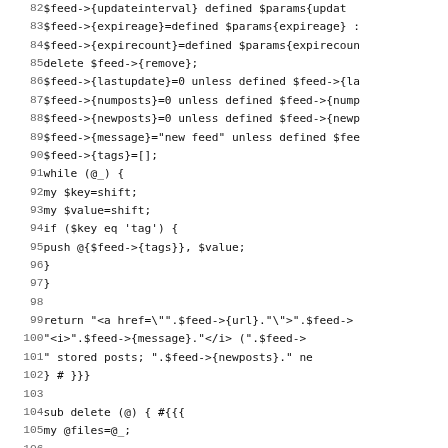Code listing lines 82-114, Perl source code showing feed update and delete subroutines